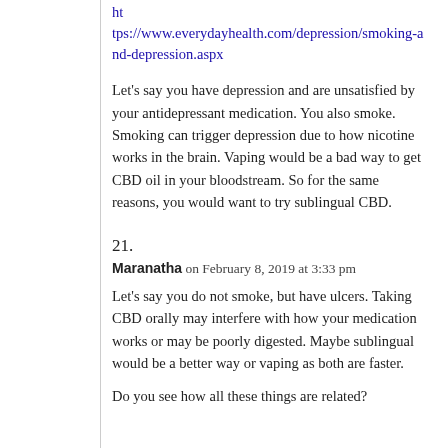https://www.everydayhealth.com/depression/smoking-and-depression.aspx
Let's say you have depression and are unsatisfied by your antidepressant medication. You also smoke. Smoking can trigger depression due to how nicotine works in the brain. Vaping would be a bad way to get CBD oil in your bloodstream. So for the same reasons, you would want to try sublingual CBD.
21.
Maranatha on February 8, 2019 at 3:33 pm
Let's say you do not smoke, but have ulcers. Taking CBD orally may interfere with how your medication works or may be poorly digested. Maybe sublingual would be a better way or vaping as both are faster.
Do you see how all these things are related?